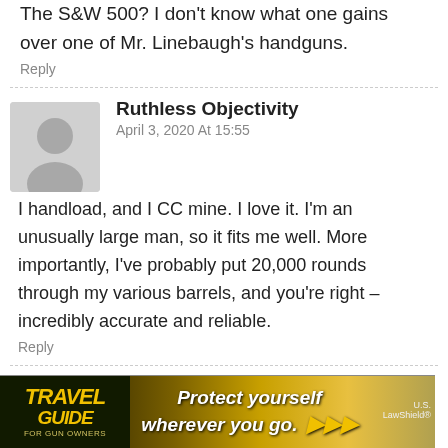The S&W 500? I don't know what one gains over one of Mr. Linebaugh's handguns.
Reply
Ruthless Objectivity
April 3, 2020 At 15:55
I handload, and I CC mine. I love it. I'm an unusually large man, so it fits me well. More importantly, I've probably put 20,000 rounds through my various barrels, and you're right – incredibly accurate and reliable.
Reply
Dyspeptic Gunsmith
April 3, 2020 At 16:09
I'm sure yours is, because you handload.
[Figure (other): Advertisement banner for Travel Guide for Gun Owners featuring US LawShield, with text 'Protect yourself wherever you go.']